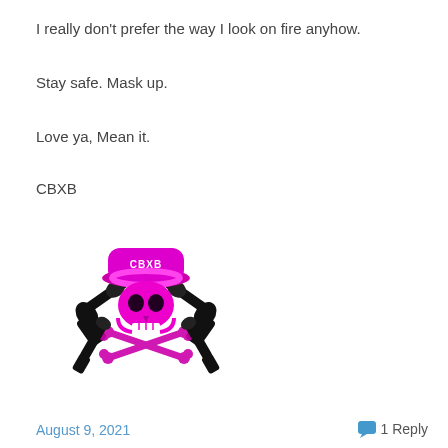I really don't prefer the way I look on fire anyhow.
Stay safe. Mask up.
Love ya, Mean it.
CBXB
[Figure (logo): CBXB logo: pink/magenta skull wearing a cowboy hat with 'CBXB' text, crossed pistols behind it, decorative crossed bones below, all in pink and black]
BUY ME A DRINK
August 9, 2021   💬 1 Reply